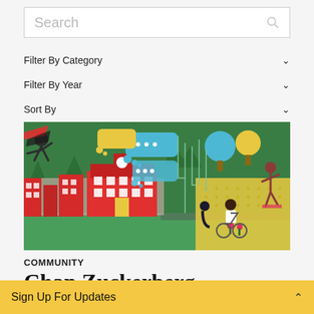[Figure (screenshot): Search input box with placeholder text 'Search' and a search icon on the right]
Filter By Category ∨
Filter By Year ∨
Sort By ∨
[Figure (illustration): Colorful community illustration showing buildings, trees, chat bubbles, people including a person in a wheelchair and a person doing yoga]
COMMUNITY
Chan Zuckerberg Initiative
× (close button)
Sign Up For Updates ∧